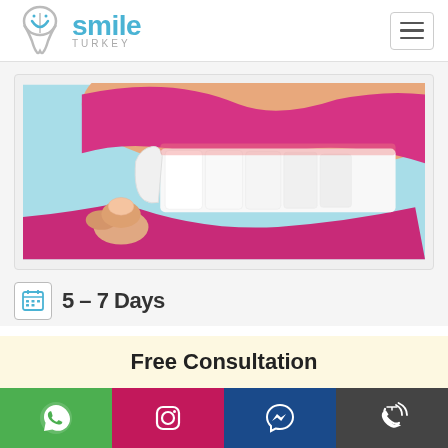[Figure (logo): U Smile Turkey dental clinic logo with tooth icon and blue text]
[Figure (photo): Close-up photo of lips with pink lipstick, showing white teeth and a dental veneer being placed on a tooth held by fingers, light blue background]
5 – 7 Days
Free Consultation
[Figure (infographic): Bottom social bar with WhatsApp (green), Instagram (pink/magenta), Facebook Messenger (dark blue), and phone call (dark grey) icons]